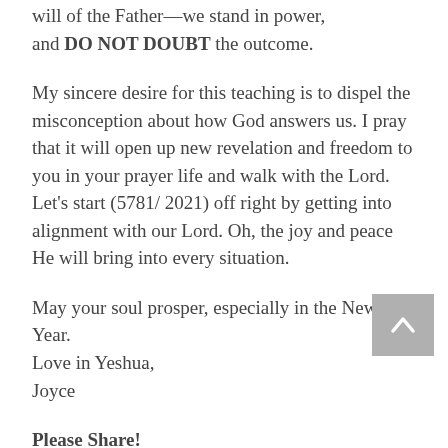will of the Father—we stand in power, and DO NOT DOUBT the outcome.
My sincere desire for this teaching is to dispel the misconception about how God answers us. I pray that it will open up new revelation and freedom to you in your prayer life and walk with the Lord. Let's start (5781/ 2021) off right by getting into alignment with our Lord. Oh, the joy and peace He will bring into every situation.
May your soul prosper, especially in the New Year.
Love in Yeshua,
Joyce
Please Share!